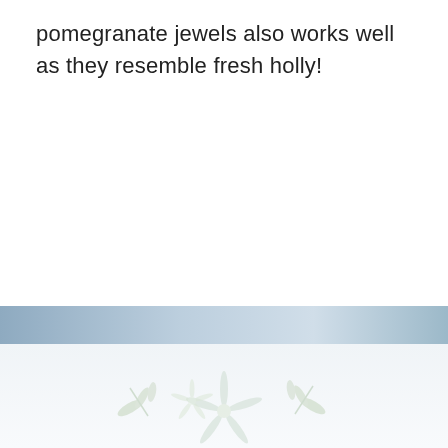pomegranate jewels also works well as they resemble fresh holly!
[Figure (photo): A photograph showing delicate white/cream botanical or coral-like decorative elements on a pale background, with a soft blue-grey gradient banner at the top of the image.]